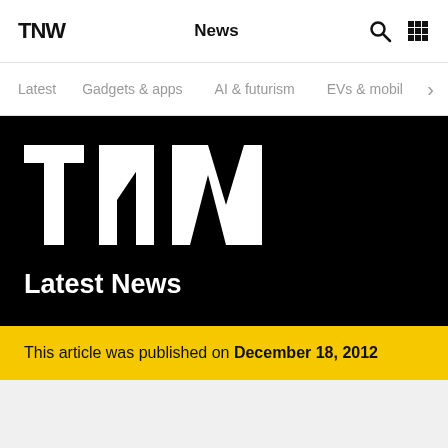TNW | News
Latest | Gadgets & apps | AI & futurism | EVs & mobil >
[Figure (logo): TNW large white logo on black background with 'Latest News' heading below]
This article was published on December 18, 2012